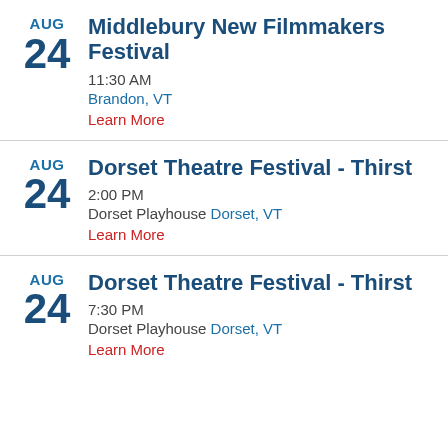AUG 24 Middlebury New Filmmakers Festival 11:30 AM Brandon, VT Learn More
AUG 24 Dorset Theatre Festival - Thirst 2:00 PM Dorset Playhouse Dorset, VT Learn More
AUG 24 Dorset Theatre Festival - Thirst 7:30 PM Dorset Playhouse Dorset, VT Learn More